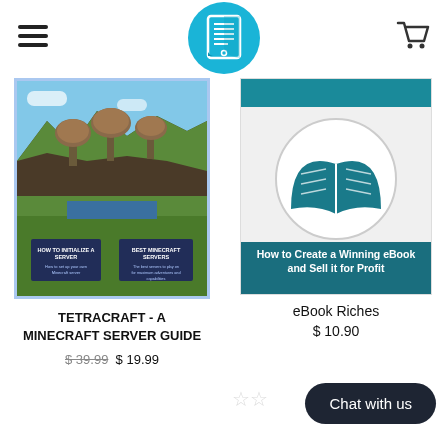[Figure (logo): Cyan circular logo with a tablet/document icon in the center top of the page]
[Figure (photo): Book cover for TETRACRAFT - A MINECRAFT SERVER GUIDE showing a Minecraft landscape with mushroom trees and grass]
TETRACRAFT - A MINECRAFT SERVER GUIDE
$39.99  $ 19.99
[Figure (illustration): eBook Riches book cover showing an open book icon on teal/white background with text 'How to Create a Winning eBook and Sell it for Profit']
eBook Riches
$ 10.90
Chat with us